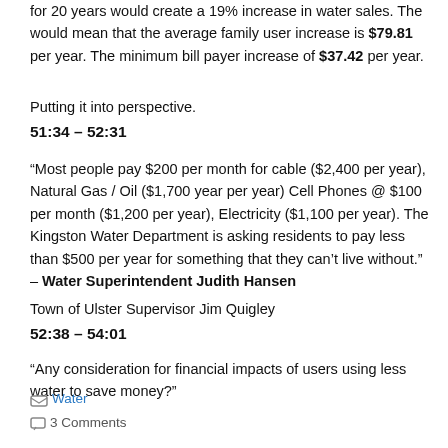for 20 years would create a 19% increase in water sales. The would mean that the average family user increase is $79.81 per year. The minimum bill payer increase of $37.42 per year.
Putting it into perspective.
51:34 – 52:31
“Most people pay $200 per month for cable ($2,400 per year), Natural Gas / Oil ($1,700 year per year) Cell Phones @ $100 per month ($1,200 per year), Electricity ($1,100 per year). The Kingston Water Department is asking residents to pay less than $500 per year for something that they can’t live without.” – Water Superintendent Judith Hansen
Town of Ulster Supervisor Jim Quigley
52:38 – 54:01
“Any consideration for financial impacts of users using less water to save money?”
Water
3 Comments